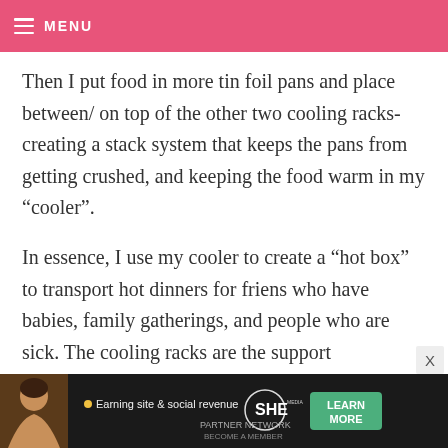MENU
Then I put food in more tin foil pans and place between/ on top of the other two cooling racks- creating a stack system that keeps the pans from getting crushed, and keeping the food warm in my “cooler”.
In essence, I use my cooler to create a “hot box” to transport hot dinners for friens who have babies, family gatherings, and people who are sick. The cooling racks are the support
[Figure (screenshot): Advertisement banner for SHE Media Partner Network. Shows a woman photo on the left, text '• Earning site & social revenue', SHE logo, PARTNER NETWORK / BECOME A MEMBER text, and a green LEARN MORE button.]